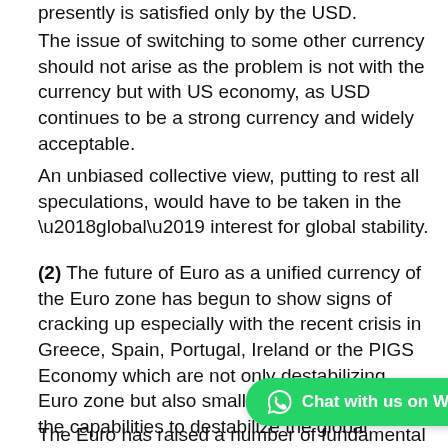presently is satisfied only by the USD.
The issue of switching to some other currency should not arise as the problem is not with the currency but with US economy, as USD continues to be a strong currency and widely acceptable.
An unbiased collective view, putting to rest all speculations, would have to be taken in the ‘global’ interest for global stability.
(2) The future of Euro as a unified currency of the Euro zone has begun to show signs of cracking up especially with the recent crisis in Greece, Spain, Portugal, Ireland or the PIGS Economy which are not only destabilizing Euro zone but also smaller economies having the capabilities to destabilize the global economy.
The Euro has raised a number of fundamental questions of compatibility of smaller and larger economies, differential growth, differences in output, labour immobility, high levels of unsustainable